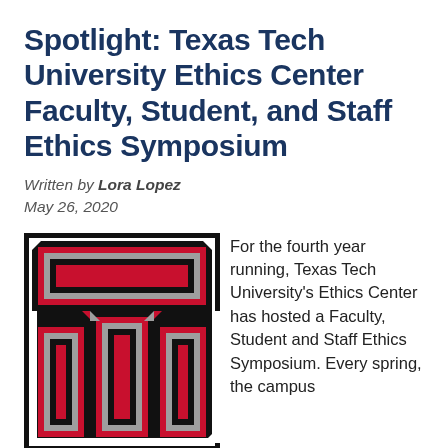Spotlight: Texas Tech University Ethics Center Faculty, Student, and Staff Ethics Symposium
Written by Lora Lopez
May 26, 2020
[Figure (logo): Texas Tech University Double T logo in red, black, and silver/gray]
For the fourth year running, Texas Tech University's Ethics Center has hosted a Faculty, Student and Staff Ethics Symposium. Every spring, the campus community is invited to